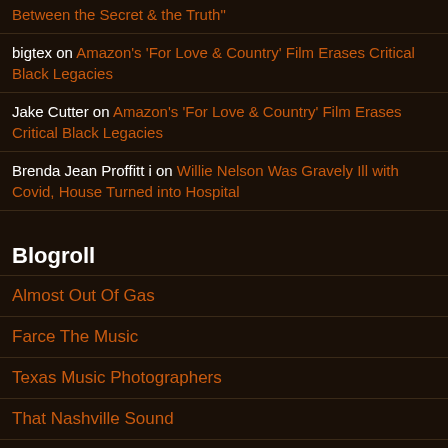Between the Secret & the Truth"
bigtex on Amazon's 'For Love & Country' Film Erases Critical Black Legacies
Jake Cutter on Amazon's 'For Love & Country' Film Erases Critical Black Legacies
Brenda Jean Proffitt i on Willie Nelson Was Gravely Ill with Covid, House Turned into Hospital
Blogroll
Almost Out Of Gas
Farce The Music
Texas Music Photographers
That Nashville Sound